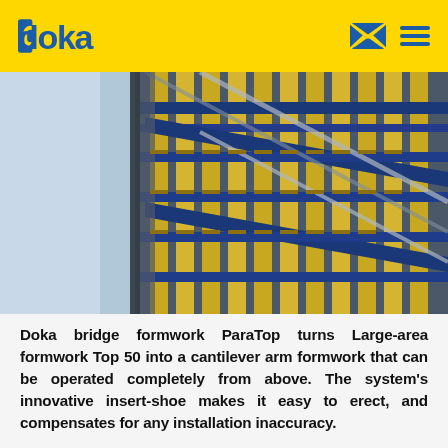doka
[Figure (photo): Close-up photograph of Doka bridge formwork ParaTop system showing yellow and blue cantilever arm formwork structure against sky background]
Doka bridge formwork ParaTop turns Large-area formwork Top 50 into a cantilever arm formwork that can be operated completely from above. The system's innovative insert-shoe makes it easy to erect, and compensates for any installation inaccuracy.
Versatile